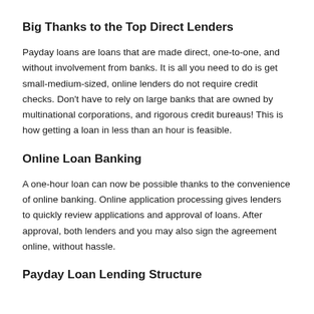Big Thanks to the Top Direct Lenders
Payday loans are loans that are made direct, one-to-one, and without involvement from banks. It is all you need to do is get small-medium-sized, online lenders do not require credit checks. Don't have to rely on large banks that are owned by multinational corporations, and rigorous credit bureaus! This is how getting a loan in less than an hour is feasible.
Online Loan Banking
A one-hour loan can now be possible thanks to the convenience of online banking. Online application processing gives lenders to quickly review applications and approval of loans. After approval, both lenders and you may also sign the agreement online, without hassle.
Payday Loan Lending Structure